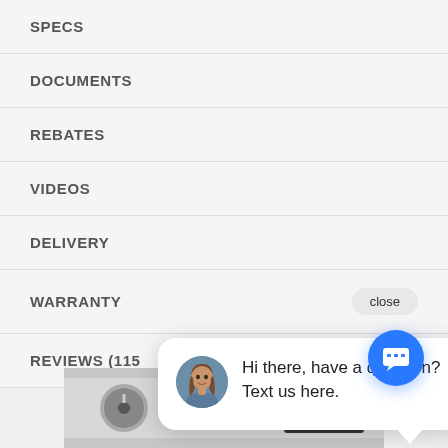SPECS
DOCUMENTS
REBATES
VIDEOS
DELIVERY
WARRANTY
REVIEWS (115
[Figure (screenshot): Chat popup with avatar photo of woman with brown hair and message: 'Hi there, have a question? Text us here.' with a blue chat button below.]
[Figure (photo): Bottom portion of a Samsung washing machine control panel showing knobs, display, and buttons.]